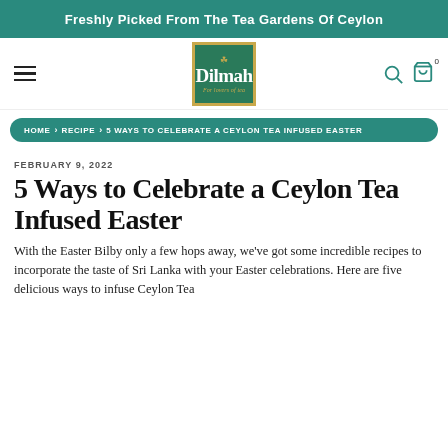Freshly Picked From The Tea Gardens Of Ceylon
[Figure (logo): Dilmah tea brand logo — green background with gold border, crown emblem, 'Dilmah' in white, tagline 'For lovers of tea' in gold italic]
HOME › RECIPE › 5 WAYS TO CELEBRATE A CEYLON TEA INFUSED EASTER
FEBRUARY 9, 2022
5 Ways to Celebrate a Ceylon Tea Infused Easter
With the Easter Bilby only a few hops away, we've got some incredible recipes to incorporate the taste of Sri Lanka with your Easter celebrations. Here are five delicious ways to infuse Ceylon Tea